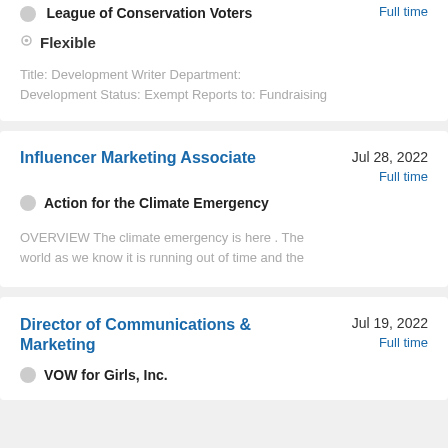League of Conservation Voters
Full time
Flexible
Title: Development Writer Department: Development Status: Exempt Reports to: Fundraising
Influencer Marketing Associate
Jul 28, 2022
Full time
Action for the Climate Emergency
OVERVIEW The climate emergency is here . The world as we know it is running out of time and the
Director of Communications & Marketing
Jul 19, 2022
Full time
VOW for Girls, Inc.